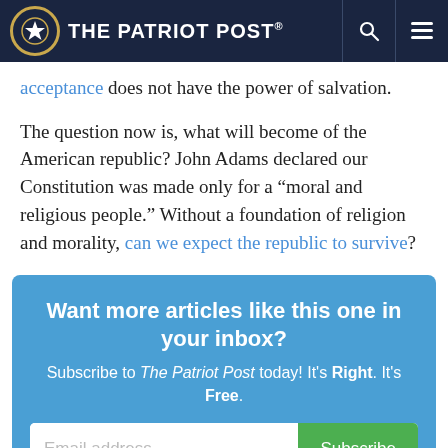The Patriot Post
acceptance does not have the power of salvation.
The question now is, what will become of the American republic? John Adams declared our Constitution was made only for a “moral and religious people.” Without a foundation of religion and morality, can we expect the republic to survive?
Want more articles like this one in your inbox? Subscribe to The Patriot Post today! It’s Right. It’s Free.